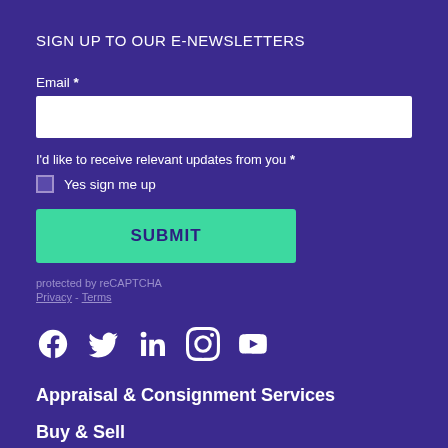SIGN UP TO OUR E-NEWSLETTERS
Email *
I'd like to receive relevant updates from you *
Yes sign me up
SUBMIT
protected by reCAPTCHA
Privacy - Terms
[Figure (other): Social media icons: Facebook, Twitter, LinkedIn, Instagram, YouTube]
Appraisal & Consignment Services
Buy & Sell
Auctions and Events